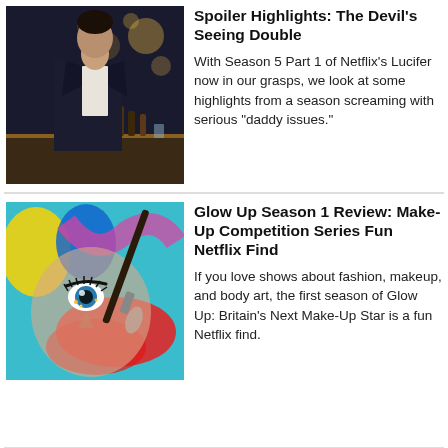[Figure (photo): Man in dark suit standing at a bar with blurred background lights]
Lucifer Season 5 Part 1 Spoiler Highlights: The Devil's Seeing Double
With Season 5 Part 1 of Netflix's Lucifer now in our grasps, we look at some highlights from a season screaming with serious "daddy issues."
[Figure (photo): Close-up of a woman's face with colorful artistic makeup including blue, red, yellow face paint and a makeup brush]
Glow Up Season 1 Review: Make-Up Competition Series Fun Netflix Find
If you love shows about fashion, makeup, and body art, the first season of Glow Up: Britain's Next Make-Up Star is a fun Netflix find.